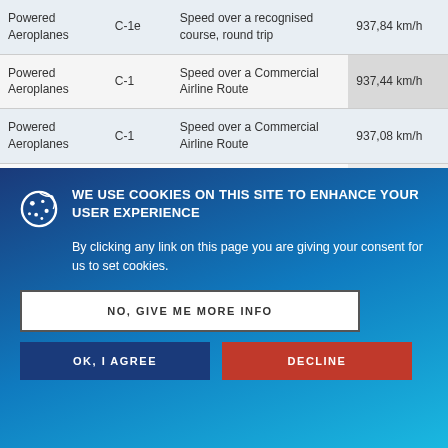| Category | Class | Type of Record | Performance |
| --- | --- | --- | --- |
| Powered Aeroplanes | C-1e | Speed over a recognised course, round trip | 937,84 km/h |
| Powered Aeroplanes | C-1 | Speed over a Commercial Airline Route | 937,44 km/h |
| Powered Aeroplanes | C-1 | Speed over a Commercial Airline Route | 937,08 km/h |
| Powered Aeroplanes | C-1 | Speed over a Commercial Airline Route | 937,00 km/h |
| Powered Aeroplanes | C-1 | Speed over a Commercial Airline Route | 936,58 km/h |
| Powered Aeroplanes | C-1 | Speed over a Commercial Airline Route | 936,00 km/h |
WE USE COOKIES ON THIS SITE TO ENHANCE YOUR USER EXPERIENCE
By clicking any link on this page you are giving your consent for us to set cookies.
NO, GIVE ME MORE INFO | OK, I AGREE | DECLINE